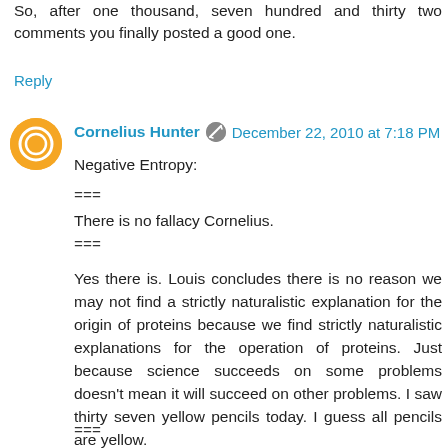So, after one thousand, seven hundred and thirty two comments you finally posted a good one.
Reply
Cornelius Hunter · December 22, 2010 at 7:18 PM
Negative Entropy:

===
There is no fallacy Cornelius.
===

Yes there is. Louis concludes there is no reason we may not find a strictly naturalistic explanation for the origin of proteins because we find strictly naturalistic explanations for the operation of proteins. Just because science succeeds on some problems doesn't mean it will succeed on other problems. I saw thirty seven yellow pencils today. I guess all pencils are yellow.


===